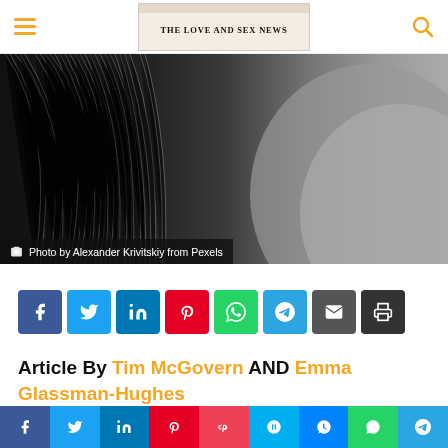THE LOVE AND SEX NEWS
[Figure (photo): Black and white close-up photo of hair and skin]
Photo by Alexander Krivitskiy from Pexels
[Figure (infographic): Social share buttons: Facebook, Twitter, LinkedIn, Pinterest, WhatsApp, Telegram, Email, Print]
Article By Tim McGovern AND Emma Glassman-Hughes
[Figure (infographic): Bottom social share bar: Facebook, Twitter, LinkedIn, Pinterest, Pocket, Skype, Messenger, WhatsApp, Telegram]